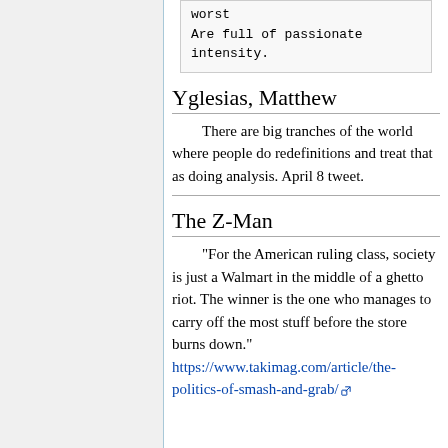worst
Are full of passionate intensity.
Yglesias, Matthew
There are big tranches of the world where people do redefinitions and treat that as doing analysis. April 8 tweet.
The Z-Man
"For the American ruling class, society is just a Walmart in the middle of a ghetto riot. The winner is the one who manages to carry off the most stuff before the store burns down." https://www.takimag.com/article/the-politics-of-smash-and-grab/